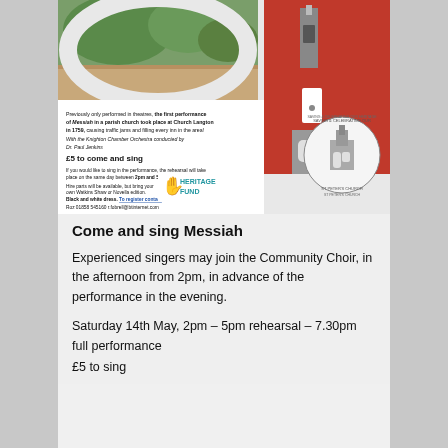[Figure (illustration): Flyer for Come and Sing Messiah event. Contains a photo of a church building with green foliage, red heritage-style graphic with a church tower silhouette, Heritage Fund logo with hand/lottery fingers, a circular parish church seal/logo, and printed text about the event including details about first performance at Church Langton in 1759, Knighton Chamber Orchestra conducted by Dr. Paul Jenkins, £5 to come and sing, rehearsal from 2pm to 5pm, hire parts available, black and white dress, contact Roz 01858 545160 r.fobrell@btinternet.com]
Come and sing Messiah
Experienced singers may join the Community Choir, in the afternoon from 2pm, in advance of the performance in the evening.
Saturday 14th May, 2pm – 5pm rehearsal – 7.30pm full performance
£5 to sing